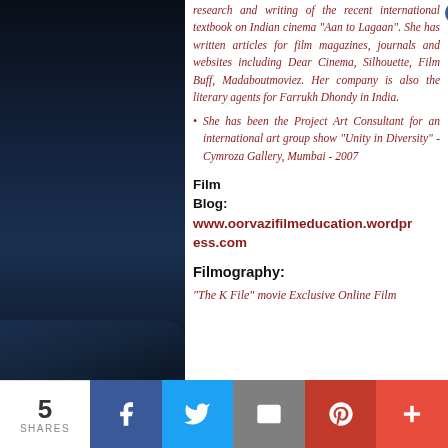research and writing of the recent international textbook on Indian cinema "Aan to Lagaan". She has written articles for film magazines, journals and websites including Dear Cinema, Silhouette, Film Buff, Madaboutmoviez. Her company is also the literary agents for Farrukh Dhondy in India.
She has been the Project Art Consultant for an international art group show “Unity in Diversity” - Cymroza Gallery, Mumbai - 2007
Film Blog: www.oorvazifilmeducation.wordpress.com
Filmography:
“The K File” movie Exclusive Online Film